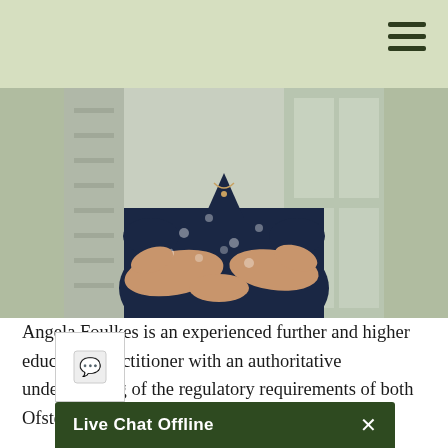[Figure (photo): Photograph of Angela Foulkes, a woman in a navy blue floral-patterned wrap dress, arms folded, photographed indoors near a glass railing.]
Angela Foulkes is an experienced further and higher education practitioner with an authoritative understanding of the regulatory requirements of both Ofsted and the Office for Students Quality Assurance Agency for Higher Education, formerly...
Live Chat Offline  ×